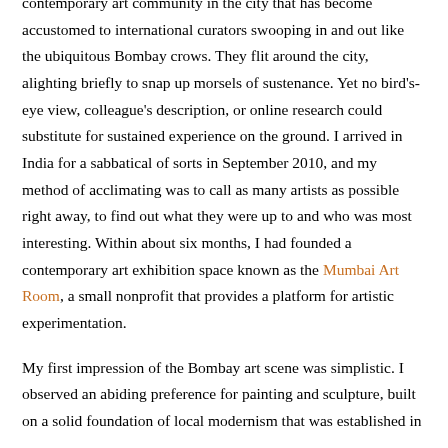contemporary art community in the city that has become accustomed to international curators swooping in and out like the ubiquitous Bombay crows. They flit around the city, alighting briefly to snap up morsels of sustenance. Yet no bird's-eye view, colleague's description, or online research could substitute for sustained experience on the ground. I arrived in India for a sabbatical of sorts in September 2010, and my method of acclimating was to call as many artists as possible right away, to find out what they were up to and who was most interesting. Within about six months, I had founded a contemporary art exhibition space known as the Mumbai Art Room, a small nonprofit that provides a platform for artistic experimentation.
My first impression of the Bombay art scene was simplistic. I observed an abiding preference for painting and sculpture, built on a solid foundation of local modernism that was established in